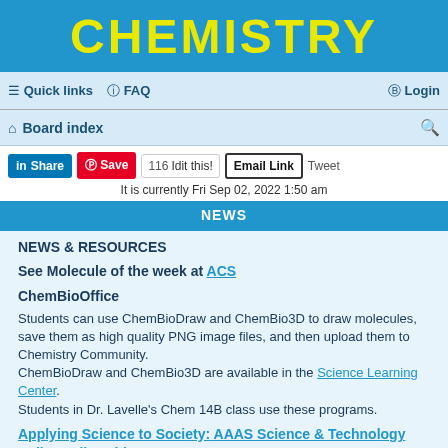CHEMISTRY
≡ Quick links  ? FAQ   Login
⌂ Board index
in Share  Save  116  Idit this!  Email Link  Tweet
It is currently Fri Sep 02, 2022 1:50 am
NEWS
NEWS & RESOURCES
See Molecule of the week at ACS
ChemBioOffice
Students can use ChemBioDraw and ChemBio3D to draw molecules, save them as high quality PNG image files, and then upload them to Chemistry Community.
ChemBioDraw and ChemBio3D are available in the Science Learning Center.
Students in Dr. Lavelle's Chem 14B class use these programs.
Applying Science to Society: AAAS Science & Technology Policy Fellowships